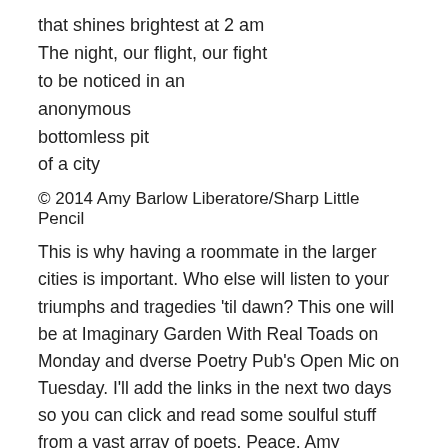that shines brightest at 2 am
The night, our flight, our fight
to be noticed in an
anonymous
bottomless pit
of a city
© 2014 Amy Barlow Liberatore/Sharp Little Pencil
This is why having a roommate in the larger cities is important. Who else will listen to your triumphs and tragedies 'til dawn? This one will be at Imaginary Garden With Real Toads on Monday and dverse Poetry Pub's Open Mic on Tuesday. I'll add the links in the next two days so you can click and read some soulful stuff from a vast array of poets. Peace, Amy